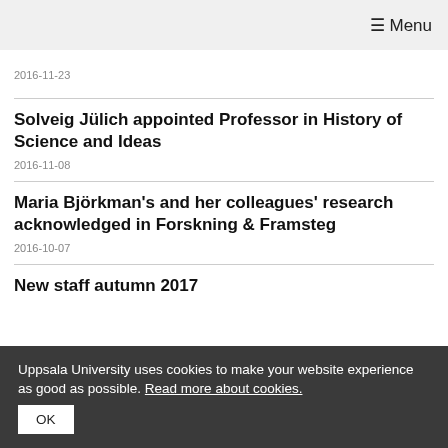≡ Menu
2016-11-23
Solveig Jülich appointed Professor in History of Science and Ideas
2016-11-08
Maria Björkman's and her colleagues' research acknowledged in Forskning & Framsteg
2016-10-07
New staff autumn 2017
Uppsala University uses cookies to make your website experience as good as possible. Read more about cookies.